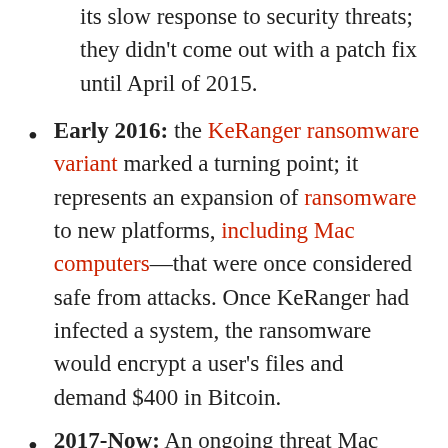its slow response to security threats; they didn't come out with a patch fix until April of 2015.
Early 2016: the KeRanger ransomware variant marked a turning point; it represents an expansion of ransomware to new platforms, including Mac computers—that were once considered safe from attacks. Once KeRanger had infected a system, the ransomware would encrypt a user's files and demand $400 in Bitcoin.
2017-Now: An ongoing threat Mac users need to be aware of is adware connected to a fake Adobe Flash Player installer. This